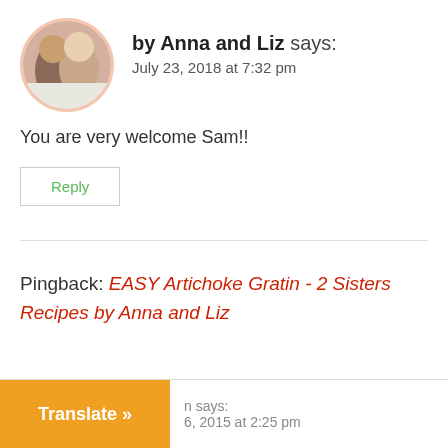by Anna and Liz says:
July 23, 2018 at 7:32 pm
You are very welcome Sam!!
Reply
Pingback: EASY Artichoke Gratin - 2 Sisters Recipes by Anna and Liz
n says:
6, 2015 at 2:25 pm
Translate »